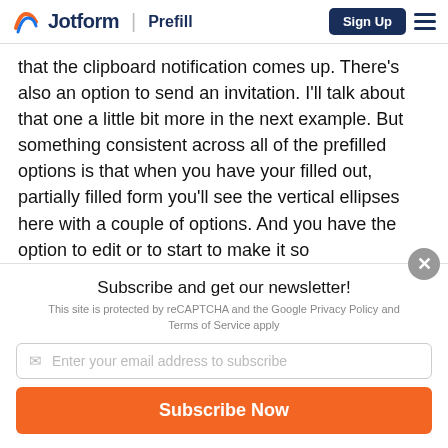Jotform | Prefill — Sign Up
that the clipboard notification comes up. There's also an option to send an invitation. I'll talk about that one a little bit more in the next example. But something consistent across all of the prefilled options is that when you have your filled out, partially filled form you'll see the vertical ellipses here with a couple of options. And you have the option to edit or to start to make it so
Subscribe and get our newsletter!
This site is protected by reCAPTCHA and the Google Privacy Policy and Terms of Service apply
Enter your email address to subscribe
Subscribe Now